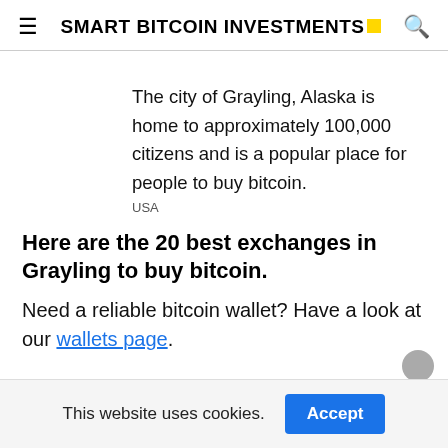SMART BITCOIN INVESTMENTS
The city of Grayling, Alaska is home to approximately 100,000 citizens and is a popular place for people to buy bitcoin.
USA
Here are the 20 best exchanges in Grayling to buy bitcoin.
Need a reliable bitcoin wallet? Have a look at our wallets page.
This website uses cookies. Accept